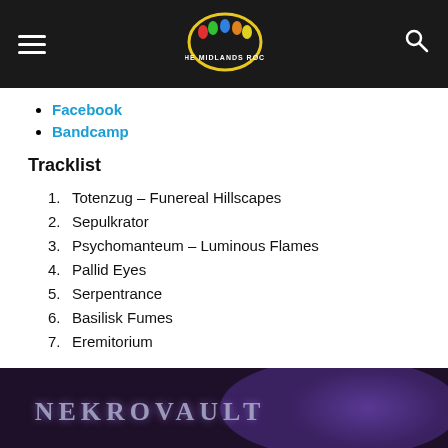THE MIDLANDS ROCK — navigation header with hamburger menu and search icon
Facebook
Bandcamp
Tracklist
1. Totenzug – Funereal Hillscapes
2. Sepulkrator
3. Psychomanteum – Luminous Flames
4. Pallid Eyes
5. Serpentrance
6. Basilisk Fumes
7. Eremitorium
[Figure (photo): Dark purple-toned band photo with NEKROVAULT text in ornate metal lettering at the bottom of the page]